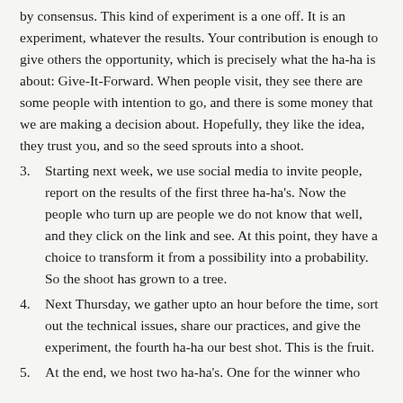by consensus. This kind of experiment is a one off. It is an experiment, whatever the results. Your contribution is enough to give others the opportunity, which is precisely what the ha-ha is about: Give-It-Forward. When people visit, they see there are some people with intention to go, and there is some money that we are making a decision about. Hopefully, they like the idea, they trust you, and so the seed sprouts into a shoot.
3. Starting next week, we use social media to invite people, report on the results of the first three ha-ha's. Now the people who turn up are people we do not know that well, and they click on the link and see. At this point, they have a choice to transform it from a possibility into a probability. So the shoot has grown to a tree.
4. Next Thursday, we gather upto an hour before the time, sort out the technical issues, share our practices, and give the experiment, the fourth ha-ha our best shot. This is the fruit.
5. At the end, we host two ha-ha's. One for the winner who